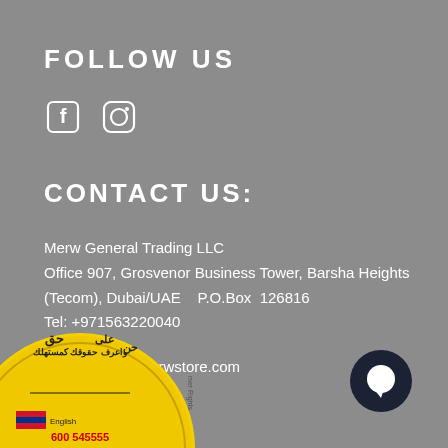FOLLOW US
[Figure (illustration): Facebook and Instagram social media icons in white]
CONTACT US:
Merw General Trading LLC
Office 907, Grosvenor Business Tower, Barsha Heights (Tecom), Dubai/UAE   P.O.Box  126816
Tel: +971563220040
e-mail: care@merwstore.com
[Figure (logo): Yellow circular consumer rights badge with Arabic text and shopping cart, English flag with 'English', 600 545555 phone number]
[Figure (illustration): Dark navy circular chat bubble / messenger button icon]